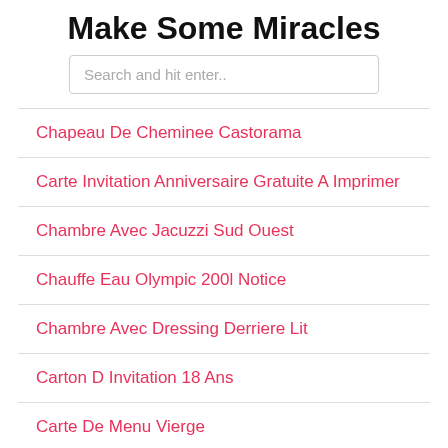Make Some Miracles
Search and hit enter..
Chapeau De Cheminee Castorama
Carte Invitation Anniversaire Gratuite A Imprimer
Chambre Avec Jacuzzi Sud Ouest
Chauffe Eau Olympic 200l Notice
Chambre Avec Dressing Derriere Lit
Carton D Invitation 18 Ans
Carte De Menu Vierge
Chambre Avec Jacuzzi Privatif Espagne
Changer Moteur Volet Roulant Bubendorff
Chaudiere Elm Leblanc Notice